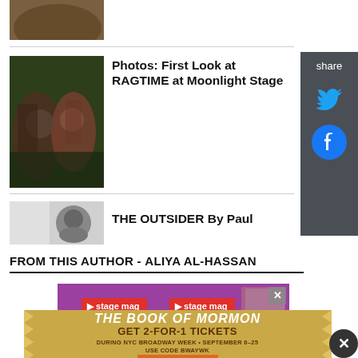[Figure (photo): Partial top image of nature/animal scene, cropped at top]
[Figure (photo): Two actors on stage for RAGTIME at Moonlight Stage]
Photos: First Look at RAGTIME at Moonlight Stage
[Figure (photo): Headshot thumbnail for THE OUTSIDER by Paul article]
THE OUTSIDER By Paul
FROM THIS AUTHOR - ALIYA AL-HASSAN
[Figure (screenshot): Stage Mag advertisement banner with purple background and two stage mag tags]
[Figure (photo): The Book of Mormon advertisement - GET 2-FOR-1 TICKETS DURING NYC BROADWAY WEEK SEPTEMBER 6-25 USE CODE BWAYWK]